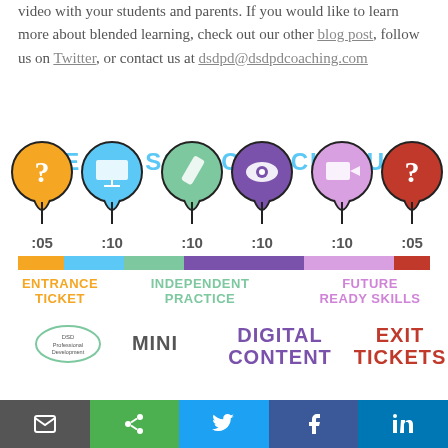video with your students and parents. If you would like to learn more about blended learning, check out our other blog post, follow us on Twitter, or contact us at dsdpd@dsdpdcoaching.com
[Figure (infographic): The Classroom Schedule infographic showing 6 pin-drop icons (orange question mark, blue projector, teal pencil, purple eye, pink video play, brown question mark) with time durations (:05, :10, :10, :10, :10, :05) and a color-coded timeline bar below. Labels: Entrance Ticket, Independent Practice, Future Ready Skills, Mini (Lesson), Digital Content, Exit Tickets.]
Email | Share | Twitter | Facebook | LinkedIn